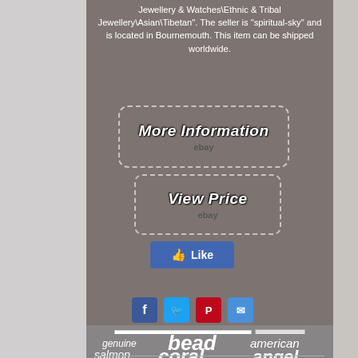Jewellery & Watches\Ethnic & Tribal Jewellery\Asian\Tibetan". The seller is "spiritual-sky" and is located in Bournemouth. This item can be shipped worldwide.
[Figure (screenshot): More Information button with dashed border and eBay logo]
[Figure (screenshot): View Price button with dashed border and eBay logo]
[Figure (screenshot): Facebook Like button (blue)]
[Figure (screenshot): Social sharing icons: Facebook, Twitter, Pinterest, Email]
[Figure (screenshot): Search bar with text input and Search button]
genuine   bead   american   salmon   coral   angel